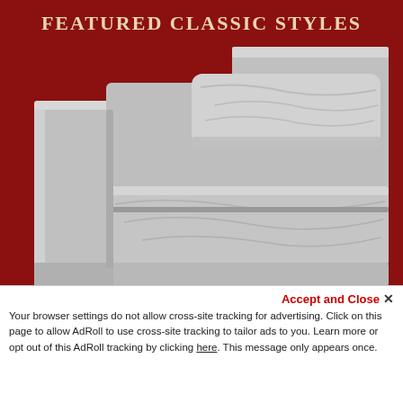FEATURED CLASSIC STYLES
[Figure (photo): Close-up photograph of a classic white/light grey upholstered sofa or couch, showing the back cushion and seat cushion in detail, set against a dark red/maroon background.]
Accept and Close ✕
Your browser settings do not allow cross-site tracking for advertising. Click on this page to allow AdRoll to use cross-site tracking to tailor ads to you. Learn more or opt out of this AdRoll tracking by clicking here. This message only appears once.